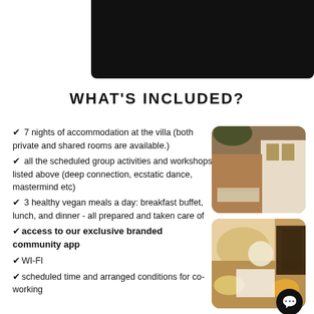[Figure (photo): Black banner/header block at top right of page]
WHAT'S INCLUDED?
✔ 7 nights of accommodation at the villa (both private and shared rooms are available.)
✔ all the scheduled group activities and workshops listed above (deep connection, ecstatic dance, mastermind etc)
[Figure (photo): Outdoor stone path and white building with plants]
✔ 3 healthy vegan meals a day: breakfast buffet, lunch, and dinner - all prepared and taken care of
✔ access to our exclusive branded community app
✔ WI-FI
✔ scheduled time and arranged conditions for co-working
[Figure (photo): Overhead view of vegan food spread on wooden board]